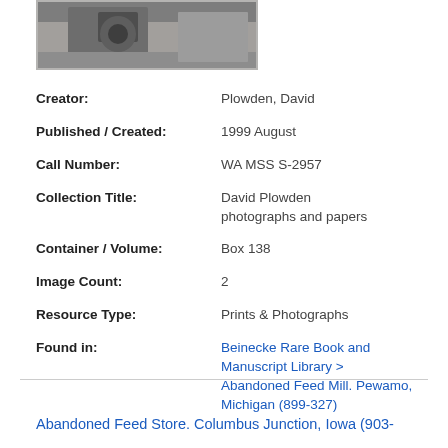[Figure (photo): Black and white photograph, partially visible at top of page]
Creator: Plowden, David
Published / Created: 1999 August
Call Number: WA MSS S-2957
Collection Title: David Plowden photographs and papers
Container / Volume: Box 138
Image Count: 2
Resource Type: Prints & Photographs
Found in: Beinecke Rare Book and Manuscript Library > Abandoned Feed Mill. Pewamo, Michigan (899-327)
Abandoned Feed Store. Columbus Junction, Iowa (903-